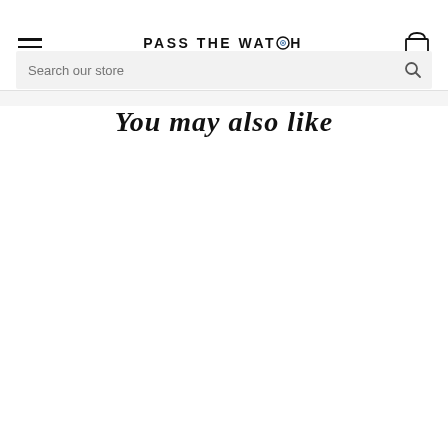PASS THE WATCH
You may also like